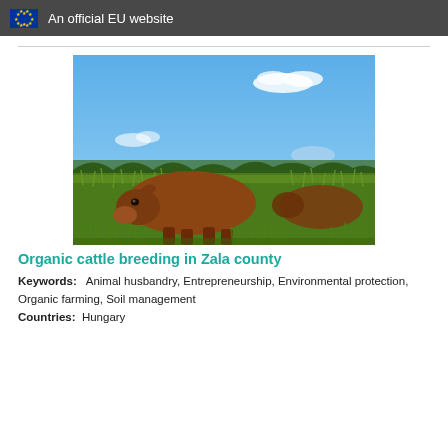An official EU website
[Figure (photo): A brown cow grazing in tall green grass under a blue sky with scattered white clouds. Trees are visible in the background. Other cattle are partially visible on the right side.]
Organic cattle breeding in Zala county
Keywords: Animal husbandry, Entrepreneurship, Environmental protection, Organic farming, Soil management
Countries: Hungary